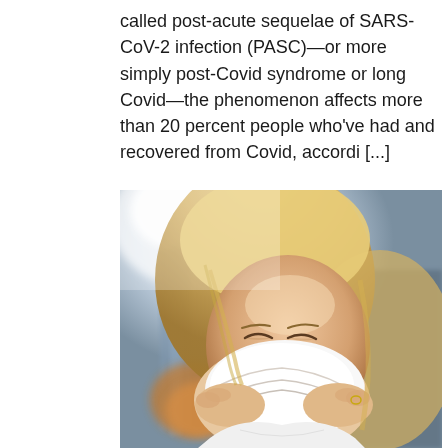called post-acute sequelae of SARS-CoV-2 infection (PASC)—or more simply post-Covid syndrome or long Covid—the phenomenon affects more than 20 percent people who've had and recovered from Covid, accordi [...]
[Figure (photo): A blonde woman in a white shirt pressing a white tissue to her nose, appearing ill, with a blurred background featuring warm orange and blue tones.]